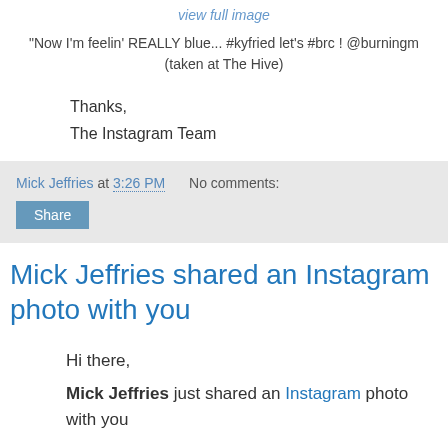view full image
"Now I'm feelin' REALLY blue... #kyfried let's #brc ! @burningm
(taken at The Hive)
Thanks,
The Instagram Team
Mick Jeffries at 3:26 PM   No comments:
Share
Mick Jeffries shared an Instagram photo with you
Hi there,
Mick Jeffries just shared an Instagram photo with you